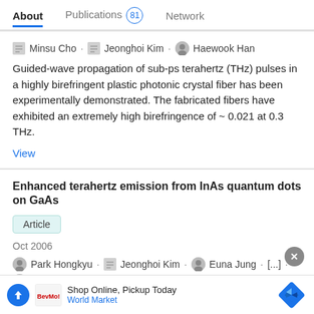About  Publications 81  Network
Minsu Cho · Jeonghoi Kim · Haewook Han
Guided-wave propagation of sub-ps terahertz (THz) pulses in a highly birefringent plastic photonic crystal fiber has been experimentally demonstrated. The fabricated fibers have exhibited an extremely high birefringence of ~ 0.021 at 0.3 THz.
View
Enhanced terahertz emission from InAs quantum dots on GaAs
Article
Oct 2006
Park Hongkyu · Jeonghoi Kim · Euna Jung · [...] · Haewook Han
Optically pumped terahertz emission has been observed in a